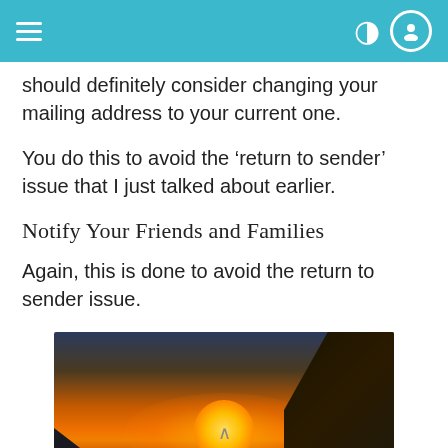should definitely consider changing your mailing address to your current one.
You do this to avoid the ‘return to sender’ issue that I just talked about earlier.
Notify Your Friends and Families
Again, this is done to avoid the return to sender issue.
[Figure (photo): Sunset landscape photo of Oahu, Hawaii, showing a dramatic orange and golden sunset over the ocean with silhouetted cliffs and mountains. The word OAHU is displayed in the center of the image.]